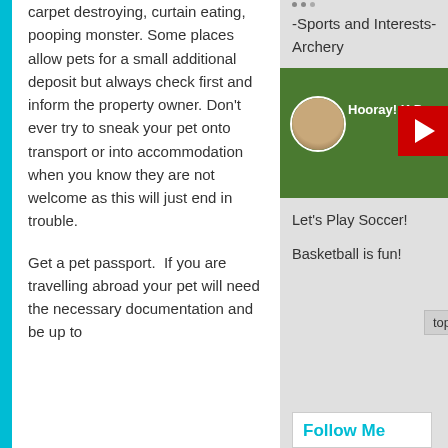carpet destroying, curtain eating, pooping monster. Some places allow pets for a small additional deposit but always check first and inform the property owner. Don't ever try to sneak your pet onto transport or into accommodation when you know they are not welcome as this will just end in trouble.

Get a pet passport. If you are travelling abroad your pet will need the necessary documentation and be up to
-Sports and Interests- Archery
[Figure (photo): Video thumbnail showing a woman with dark hair and a YouTube play button. Text reads 'Hooray! K D']
Let's Play Soccer!
Basketball is fun!
top
Follow Me